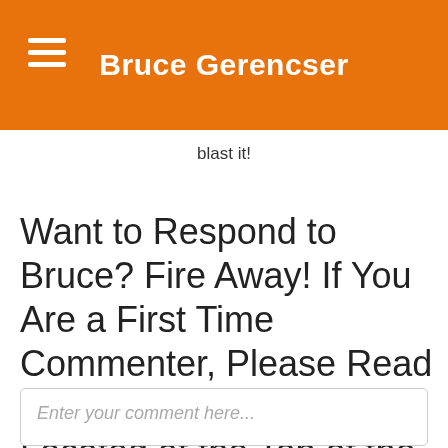Bruce Gerencser
blast it!
Want to Respond to Bruce? Fire Away! If You Are a First Time Commenter, Please Read the Comment Policy Located at the Top of the Page.
Enter your comment here...